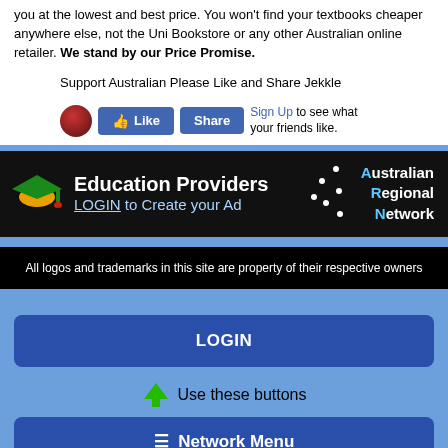you at the lowest and best price. You won't find your textbooks cheaper anywhere else, not the Uni Bookstore or any other Australian online retailer. We stand by our Price Promise.
Support Australian Please Like and Share Jekkle
[Figure (screenshot): Facebook Like and Share buttons with a Jekkle logo icon and Sign Up prompt]
[Figure (infographic): Education Providers banner with graduation cap logo and Australian Regional Network stars, LOGIN to Create your Ad]
All logos and trademarks in this site are property of their respective owners
[Figure (screenshot): LOGIN button (dark blue, rounded)]
Use these buttons
[Figure (screenshot): Network Menu button (dark blue, rounded, hamburger icon)]
Use these buttons